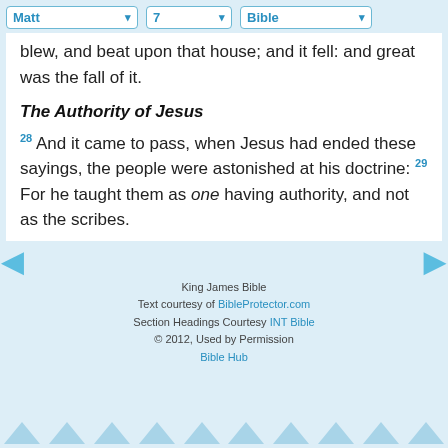Matt  7  Bible
blew, and beat upon that house; and it fell: and great was the fall of it.
The Authority of Jesus
28 And it came to pass, when Jesus had ended these sayings, the people were astonished at his doctrine: 29 For he taught them as one having authority, and not as the scribes.
King James Bible
Text courtesy of BibleProtector.com
Section Headings Courtesy INT Bible © 2012, Used by Permission
Bible Hub